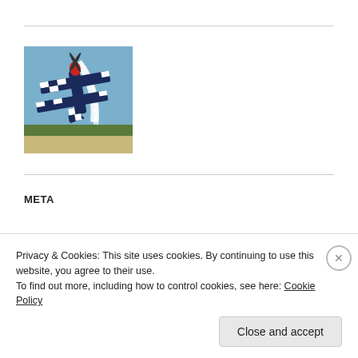[Figure (photo): An aerobatic biplane performing a vertical maneuver with smoke trail, checkered markings on wings, red and dark blue colors, against a sky background.]
META
Register
Privacy & Cookies: This site uses cookies. By continuing to use this website, you agree to their use.
To find out more, including how to control cookies, see here: Cookie Policy
Close and accept